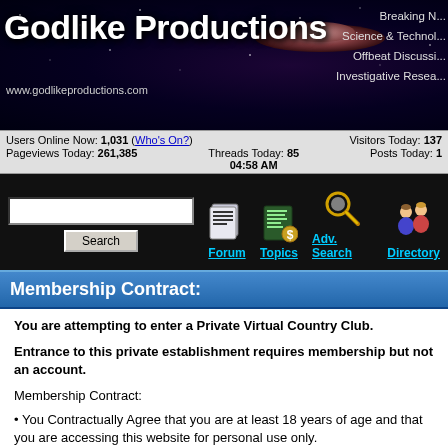[Figure (screenshot): Godlike Productions website header banner with dark space background, UFO image, site title, URL, and navigation links]
Users Online Now: 1,031 (Who's On?) | Pageviews Today: 261,385 | Threads Today: 85 | 04:58 AM | Visitors Today: 137 | Posts Today: 1
[Figure (screenshot): Search bar with text input and Search button, plus Forum, Topics, Adv. Search, Directory navigation icons]
Membership Contract:
You are attempting to enter a Private Virtual Country Club.

Entrance to this private establishment requires membership but not an account.

Membership Contract:

• You Contractually Agree that you are at least 18 years of age and that you are accessing this website for personal use only.
• You Contractually Agree that you wish to join as a member to this private establishment and that any communication taking place here is considered private communication between members which you agree not to publicly disclose or disseminate.
• You are responsible for all activity that occurs under your IP Address and using this website including any conduct that...